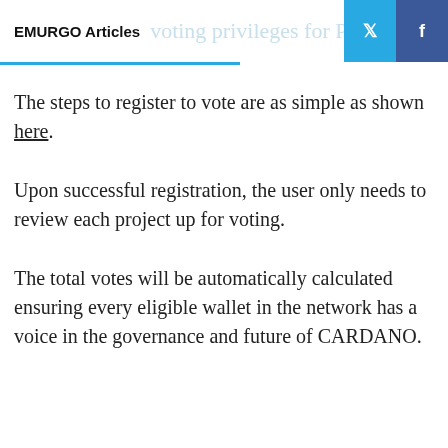EMURGO Articles
The steps to register to vote are as simple as shown here.
Upon successful registration, the user only needs to review each project up for voting.
The total votes will be automatically calculated ensuring every eligible wallet in the network has a voice in the governance and future of CARDANO.